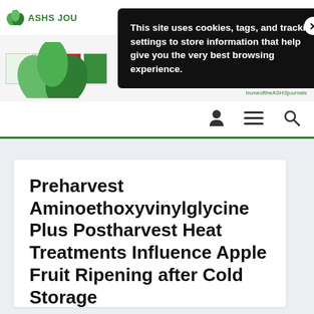ASHS JOU
[Figure (screenshot): Cookie consent popup overlay on ASHS journal website. Black rounded rectangle with white text: 'This site uses cookies, tags, and tracking settings to store information that help give you the very best browsing experience.' with a white circular X close button.]
[Figure (logo): ASHS green leaf logo large version in header]
Preharvest Aminoethoxyvinylglycine Plus Postharvest Heat Treatments Influence Apple Fruit Ripening after Cold Storage
in HertScience